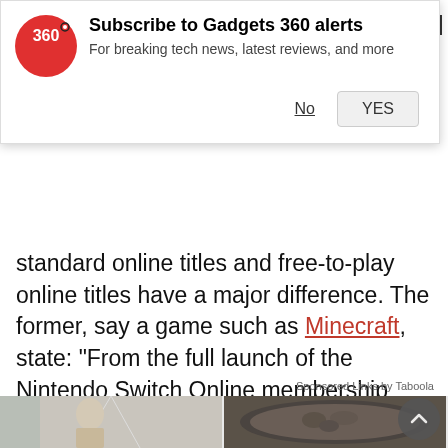[Figure (screenshot): Gadgets 360 subscription notification banner with red circle logo, title 'Subscribe to Gadgets 360 alerts', subtitle 'For breaking tech news, latest reviews, and more', and No/YES buttons]
standard online titles and free-to-play online titles have a major difference. The former, say a game such as Minecraft, state: "From the full launch of the Nintendo Switch Online membership service in 2018, online play requires a paid membership."
Sponsored Links by Taboola
[Figure (photo): Two advertisement images side by side: left shows an elderly man in a suit in a corridor, right shows a pan of cooked ground meat]